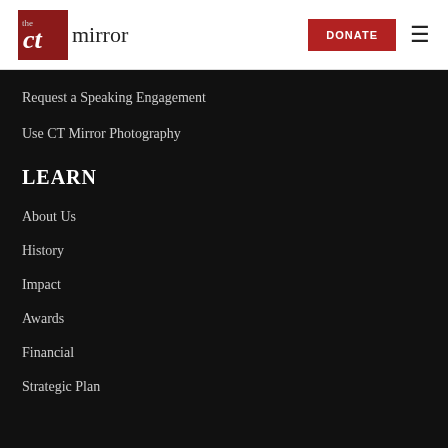the CT mirror | DONATE
Request a Speaking Engagement
Use CT Mirror Photography
LEARN
About Us
History
Impact
Awards
Financial
Strategic Plan